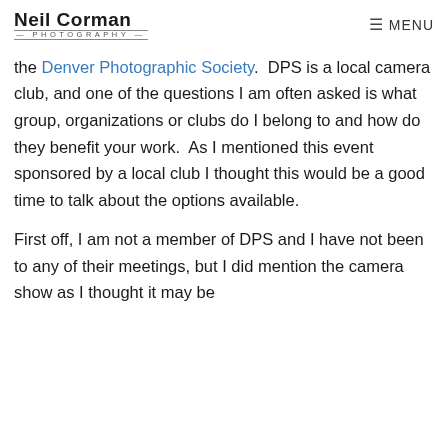Neil Corman Photography | MENU
the Denver Photographic Society.  DPS is a local camera club, and one of the questions I am often asked is what group, organizations or clubs do I belong to and how do they benefit your work.  As I mentioned this event sponsored by a local club I thought this would be a good time to talk about the options available.
First off, I am not a member of DPS and I have not been to any of their meetings, but I did mention the camera show as I thought it may be of interest to the local Denver members of this